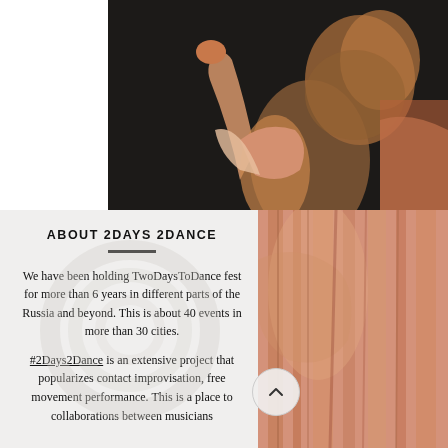[Figure (photo): Dancer performing against dark background, arms raised, with blurred motion hair]
ABOUT 2DAYS 2DANCE
We have been holding TwoDaysToDance fest for more than 6 years in different parts of the Russia and beyond. This is about 40 events in more than 30 cities.
#2Days2Dance is an extensive project that popularizes contact improvisation, free movement performance. This is a place to collaborations between musicians
[Figure (photo): Dancer in orange/red striped costume on right side of page]